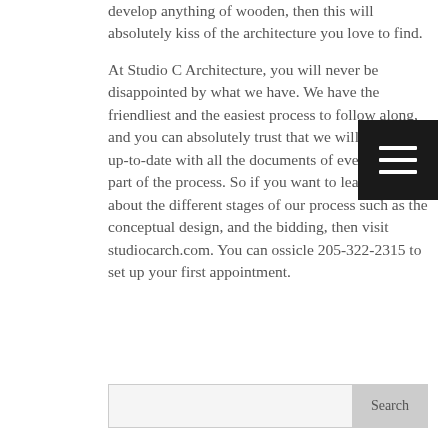develop anything of wooden, then this will absolutely kiss of the architecture you love to find.

At Studio C Architecture, you will never be disappointed by what we have. We have the friendliest and the easiest process to follow along, and you can absolutely trust that we will keep you up-to-date with all the documents of every single part of the process. So if you want to learn more about the different stages of our process such as the conceptual design, and the bidding, then visit studiocarch.com. You can ossicle 205-322-2315 to set up your first appointment.
[Figure (other): Black square menu button with three white horizontal lines (hamburger menu icon)]